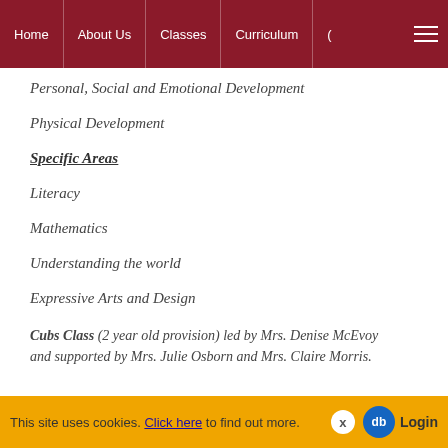Home | About Us | Classes | Curriculum
Personal, Social and Emotional Development
Physical Development
Specific Areas
Literacy
Mathematics
Understanding the world
Expressive Arts and Design
Cubs Class (2 year old provision) led by Mrs. Denise McEvoy and supported by Mrs. Julie Osborn and Mrs. Claire Morris.
This site uses cookies. Click here to find out more.